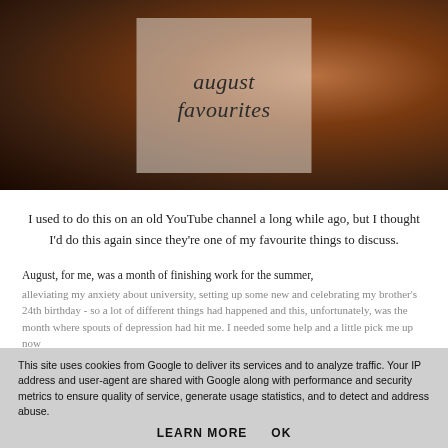[Figure (photo): Dark wooden desk scene with books, notebook, phone showing 'Chloe Tomichio' text, and other items. A semi-transparent light overlay box sits in the center with a title.]
august favourites
I used to do this on an old YouTube channel a long while ago, but I thought I'd do this again since they're one of my favourite things to discuss.
August, for me, was a month of finishing work for the summer, alleviating my anxiety about university, setting up some new and celebrating my brother's 24th birthday - so a lot of different things had happened and this, unfortunately, was the month where spouts of depression had hit me. I needed some help and a little pick me up now
This site uses cookies from Google to deliver its services and to analyze traffic. Your IP address and user-agent are shared with Google along with performance and security metrics to ensure quality of service, generate usage statistics, and to detect and address abuse.
LEARN MORE    OK